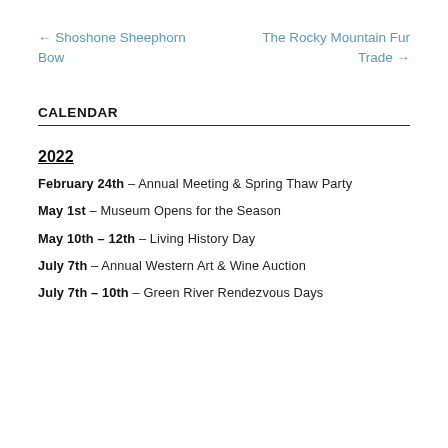← Shoshone Sheephorn Bow
The Rocky Mountain Fur Trade →
CALENDAR
2022
February 24th – Annual Meeting & Spring Thaw Party
May 1st – Museum Opens for the Season
May 10th – 12th – Living History Day
July 7th – Annual Western Art & Wine Auction
July 7th – 10th – Green River Rendezvous Days